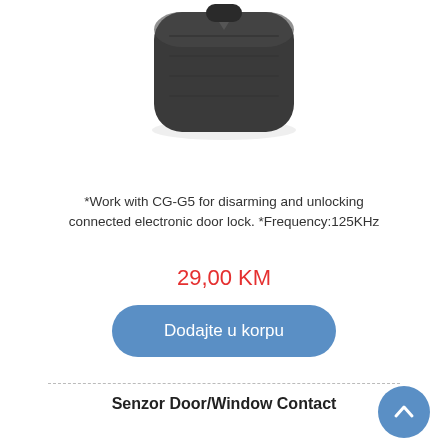[Figure (photo): Black electronic key fob device photographed against white background, rounded square shape with a notch/slot at top]
*Work with CG-G5 for disarming and unlocking connected electronic door lock. *Frequency:125KHz
29,00 KM
Dodajte u korpu
Senzor Door/Window Contact